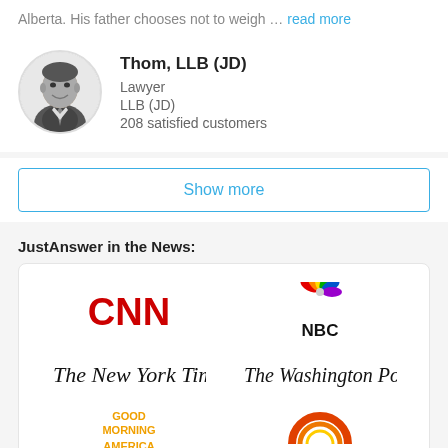Alberta. His father chooses not to weigh … read more
[Figure (photo): Circular headshot of Thom, a lawyer in a suit, black and white photo]
Thom, LLB (JD)
Lawyer
LLB (JD)
208 satisfied customers
Show more
JustAnswer in the News:
[Figure (logo): Logo grid showing CNN, NBC, The New York Times, The Washington Post, Good Morning America, TODAY]
[Figure (logo): CNN red logo]
[Figure (logo): NBC peacock logo]
[Figure (logo): The New York Times logo]
[Figure (logo): The Washington Post logo]
[Figure (logo): Good Morning America logo]
[Figure (logo): TODAY show logo]